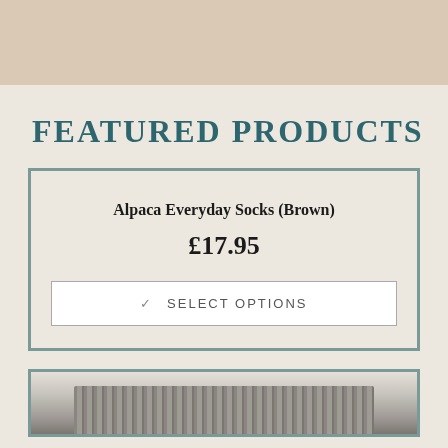FEATURED PRODUCTS
Alpaca Everyday Socks (Brown)
£17.95
✓  SELECT OPTIONS
[Figure (photo): Bottom portion of a second product card showing a grey knitted sock/textile product, partially visible at the bottom of the page]